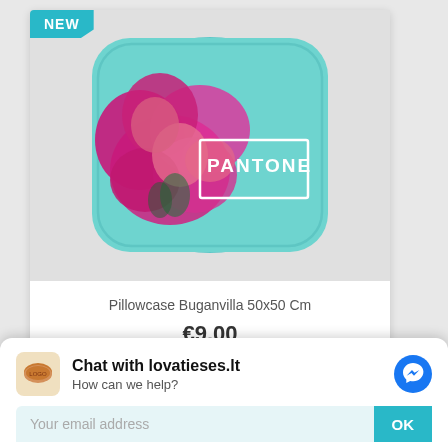[Figure (photo): Product card showing a decorative teal/turquoise pillow/cushion with pink bougainvillea flowers and a white PANTONE label box printed on it. A cyan 'NEW' badge is in the top-left corner of the card.]
Pillowcase Buganvilla 50x50 Cm
€9.00
Chat with lovatieses.lt
How can we help?
Your email address
OK